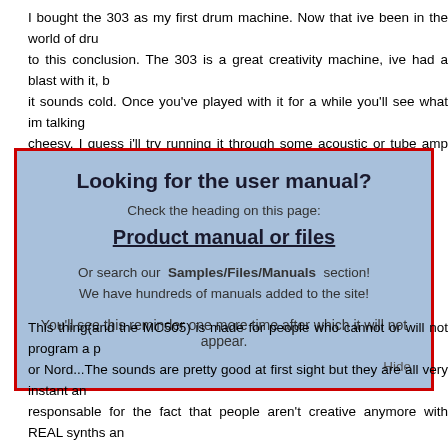I bought the 303 as my first drum machine. Now that ive been in the world of drum to this conclusion. The 303 is a great creativity machine, ive had a blast with it, b it sounds cold. Once you've played with it for a while you'll see what im talkin cheesy. I guess i'll try running it through some acoustic or tube amp simmulator pe
Looking for the user manual?
Check the heading on this page:
Product manual or files
Or search our Samples/Files/Manuals section! We have hundreds of manuals added to the site!
You'll see this reminder one more time after which it will not appear.
Hide
This thing(and the MC505) is made for people who cannot or will not program a p or Nord...The sounds are pretty good at first sight but they are all very instant an responsable for the fact that people aren't creative anymore with REAL synths an